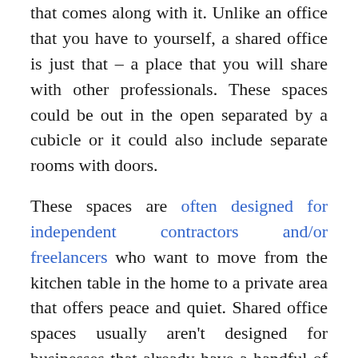that comes along with it. Unlike an office that you have to yourself, a shared office is just that – a place that you will share with other professionals. These spaces could be out in the open separated by a cubicle or it could also include separate rooms with doors.

These spaces are often designed for independent contractors and/or freelancers who want to move from the kitchen table in the home to a private area that offers peace and quiet. Shared office spaces usually aren't designed for businesses that already have a handful of employees.